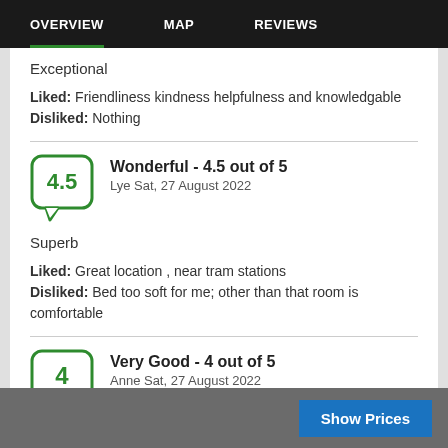OVERVIEW   MAP   REVIEWS
Exceptional
Liked: Friendliness kindness helpfulness and knowledgable
Disliked: Nothing
Wonderful - 4.5 out of 5
Lye Sat, 27 August 2022
Superb
Liked: Great location , near tram stations
Disliked: Bed too soft for me; other than that room is comfortable
Very Good - 4 out of 5
Anne Sat, 27 August 2022